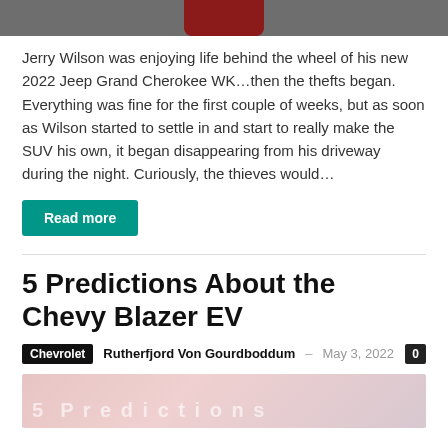[Figure (photo): Top portion of a vehicle (likely a Jeep Grand Cherokee), showing rear section against a grey background]
Jerry Wilson was enjoying life behind the wheel of his new 2022 Jeep Grand Cherokee WK...then the thefts began. Everything was fine for the first couple of weeks, but as soon as Wilson started to settle in and start to really make the SUV his own, it began disappearing from his driveway during the night. Curiously, the thieves would…
Read more
5 Predictions About the Chevy Blazer EV
Chevrolet  Rutherfjord Von Gourdboddum – May 3, 2022  0
[Figure (photo): Partial image with text overlay reading '5 Predictions' in faded white letters on a pinkish-grey background]